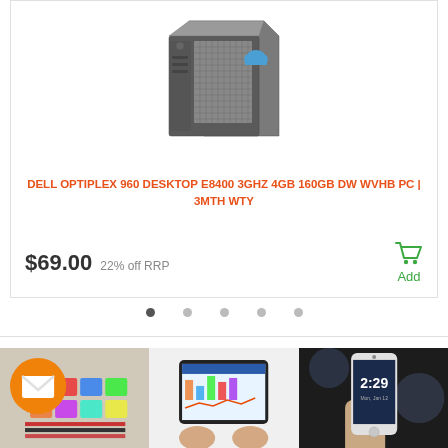[Figure (photo): Dell OptiPlex 960 desktop computer tower, metallic gray mesh front panel, photographed from front-right angle on white background]
DELL OPTIPLEX 960 DESKTOP E8400 3GHZ 4GB 160GB DW WVHB PC | 3MTH WTY
$69.00  22% off RRP
[Figure (screenshot): Screenshot thumbnail showing an email/notification icon (orange circle with white envelope) overlaid on colorful file folders grid]
[Figure (photo): Hands holding a tablet device showing a software dashboard with charts and graphs]
[Figure (photo): Hand holding a smartphone showing lock screen with time 2:29]